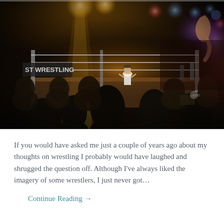[Figure (photo): Indoor wrestling event photo showing a wrestling ring with bright stage lights overhead, a referee or announcer standing in the ring, a crowd of spectators in the foreground viewed from behind, banners reading 'ST WRESTLING' visible on the left side, colorful stage lighting in blues, reds, and yellows at the top]
If you would have asked me just a couple of years ago about my thoughts on wrestling I probably would have laughed and shrugged the question off. Although I've always liked the imagery of some wrestlers, I just never got...
Continue Reading →